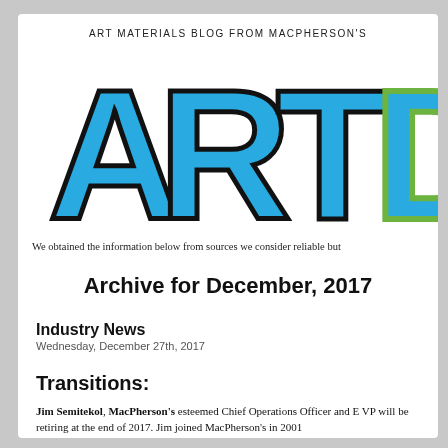ART MATERIALS BLOG FROM MACPHERSON'S
[Figure (logo): ARTD logo in large stylized letters, blue and green with black outline, partially cropped on right side]
We obtained the information below from sources we consider reliable but
Archive for December, 2017
Industry News
Wednesday, December 27th, 2017
Transitions:
Jim Semitekol, MacPherson's esteemed Chief Operations Officer and E VP will be retiring at the end of 2017. Jim joined MacPherson's in 2001